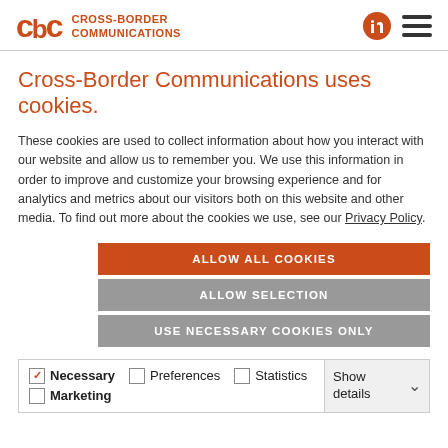CBC CROSS-BORDER COMMUNICATIONS
Cross-Border Communications uses cookies.
These cookies are used to collect information about how you interact with our website and allow us to remember you. We use this information in order to improve and customize your browsing experience and for analytics and metrics about our visitors both on this website and other media. To find out more about the cookies we use, see our Privacy Policy.
ALLOW ALL COOKIES
ALLOW SELECTION
USE NECESSARY COOKIES ONLY
| Necessary | Preferences | Statistics | Show details |
| --- | --- | --- | --- |
| ✓ |  |  |  |
| Marketing |  |  |  |